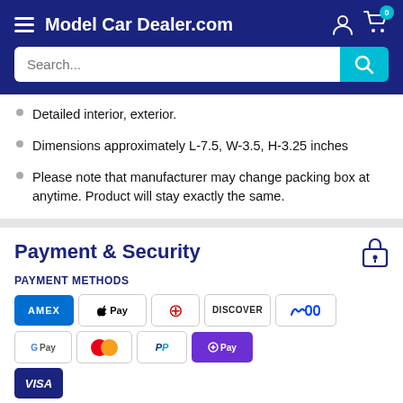Model Car Dealer.com
Detailed interior, exterior.
Dimensions approximately L-7.5, W-3.5, H-3.25 inches
Please note that manufacturer may change packing box at anytime. Product will stay exactly the same.
Payment & Security
PAYMENT METHODS
[Figure (other): Payment method icons: American Express, Apple Pay, Diners Club, Discover, Meta Pay, Google Pay, Mastercard, PayPal, ShopPay, Visa (partial)]